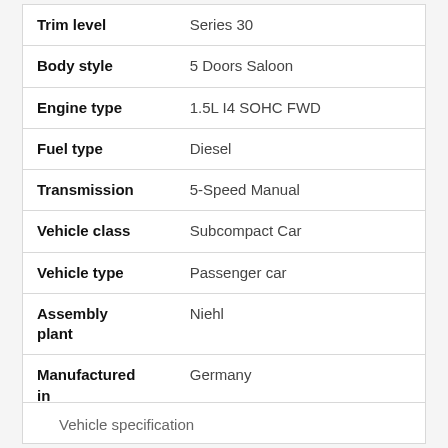| Attribute | Value |
| --- | --- |
| Trim level | Series 30 |
| Body style | 5 Doors Saloon |
| Engine type | 1.5L I4 SOHC FWD |
| Fuel type | Diesel |
| Transmission | 5-Speed Manual |
| Vehicle class | Subcompact Car |
| Vehicle type | Passenger car |
| Assembly plant | Niehl |
| Manufactured in | Germany |
Vehicle specification